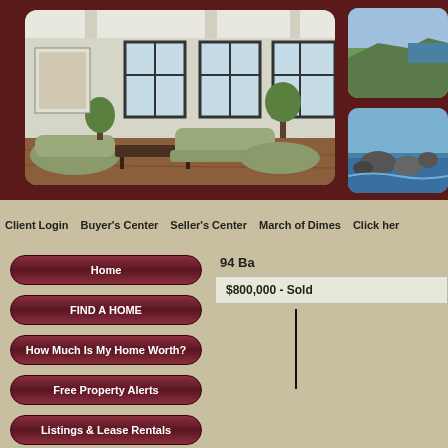[Figure (photo): Interior living room photo with modern furniture, large windows, and hardwood floors]
[Figure (photo): Coastal cliffs with green grass and ocean]
[Figure (photo): Rocky ocean coastline with blue water]
Client Login
Buyer's Center
Seller's Center
March of Dimes
Click here
Home
FIND A HOME
How Much Is My Home Worth?
Free Property Alerts
Listings & Lease Rentals
94 Ba
$800,000  -  Sold